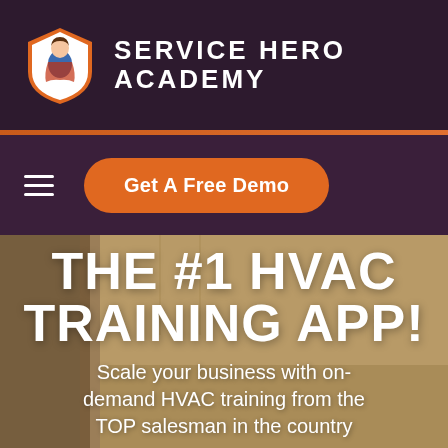[Figure (logo): Service Hero Academy logo: shield icon with a superhero figure, followed by the brand name 'SERVICE HERO ACADEMY' in white caps on dark purple background]
THE #1 HVAC TRAINING APP!
Scale your business with on-demand HVAC training from the TOP salesman in the country